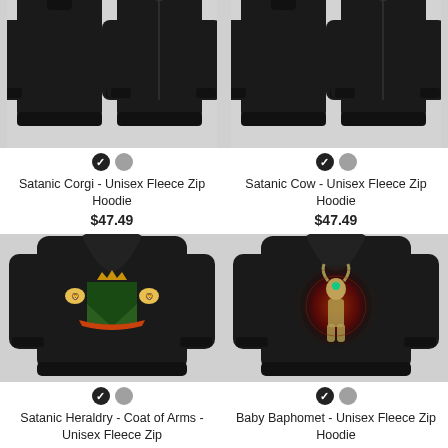[Figure (photo): Black unisex fleece zip hoodie shown from front and back, cropped at top, product listing image on gray background]
Satanic Corgi - Unisex Fleece Zip Hoodie
$47.49
[Figure (photo): Black unisex fleece zip hoodie shown from front and back, cropped at top, product listing image on gray background]
Satanic Cow - Unisex Fleece Zip Hoodie
$47.49
[Figure (photo): Black unisex fleece zip hoodie shown from back with satanic heraldry coat of arms design, on gray background]
Satanic Heraldry - Coat of Arms - Unisex Fleece Zip
[Figure (photo): Black unisex fleece zip hoodie shown from back with Baby Baphomet glowing design, on gray background]
Baby Baphomet - Unisex Fleece Zip Hoodie